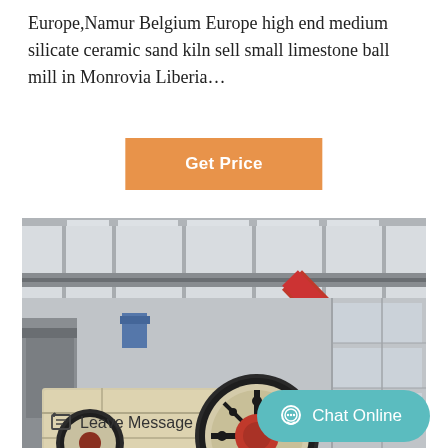Europe,Namur Belgium Europe high end medium silicate ceramic sand kiln sell small limestone ball mill in Monrovia Liberia…
[Figure (other): Orange 'Get Price' button]
[Figure (photo): Industrial jaw crusher / mobile crushing machine in a factory setting, with red diagonal conveyor arm, large flywheel with red center, beige/cream body, black chassis on tracks, inside a large industrial building.]
Leave Message
Chat Online